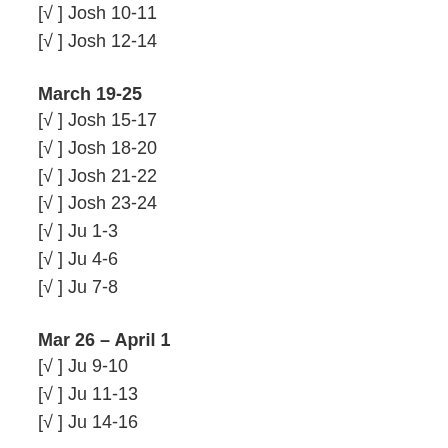[√ ] Josh 10-11
[√ ] Josh 12-14
March 19-25
[√ ] Josh 15-17
[√ ] Josh 18-20
[√ ] Josh 21-22
[√ ] Josh 23-24
[√ ] Ju 1-3
[√ ] Ju 4-6
[√ ] Ju 7-8
Mar 26 – April 1
[√ ] Ju 9-10
[√ ] Ju 11-13
[√ ] Ju 14-16